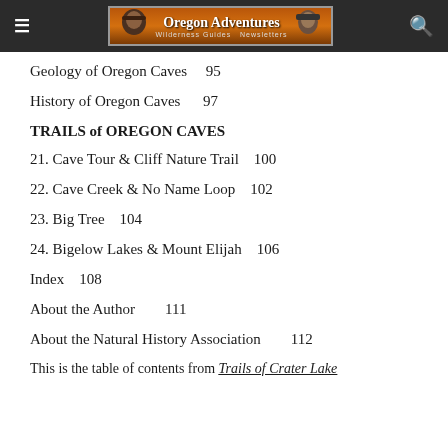Oregon Adventures
Geology of Oregon Caves    95
History of Oregon Caves    97
TRAILS of OREGON CAVES
21. Cave Tour & Cliff Nature Trail    100
22. Cave Creek & No Name Loop    102
23. Big Tree    104
24. Bigelow Lakes & Mount Elijah    106
Index    108
About the Author    111
About the Natural History Association    112
This is the table of contents from Trails of Crater Lake